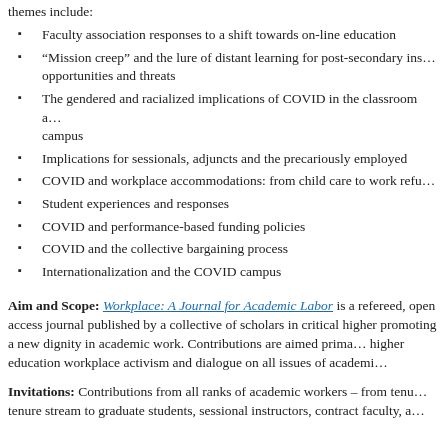themes include:
Faculty association responses to a shift towards on-line education
“Mission creep” and the lure of distant learning for post-secondary ins… opportunities and threats
The gendered and racialized implications of COVID in the classroom a… campus
Implications for sessionals, adjuncts and the precariously employed
COVID and workplace accommodations: from child care to work refu…
Student experiences and responses
COVID and performance-based funding policies
COVID and the collective bargaining process
Internationalization and the COVID campus
Aim and Scope: Workplace: A Journal for Academic Labor is a refereed, open access journal published by a collective of scholars in critical higher promoting a new dignity in academic work. Contributions are aimed prima… higher education workplace activism and dialogue on all issues of academi…
Invitations: Contributions from all ranks of academic workers – from tenu… tenure stream to graduate students, sessional instructors, contract faculty, a…